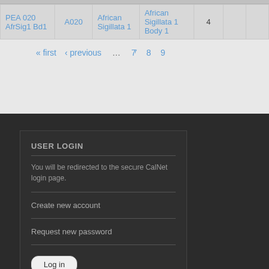| PEA 020 AfrSig1 Bd1 | A020 | African Sigillata 1 | African Sigillata 1 Body 1 | 4 |  |  |
« first ‹ previous ... 7 8 9
USER LOGIN
You will be redirected to the secure CalNet login page.
Create new account
Request new password
Log in